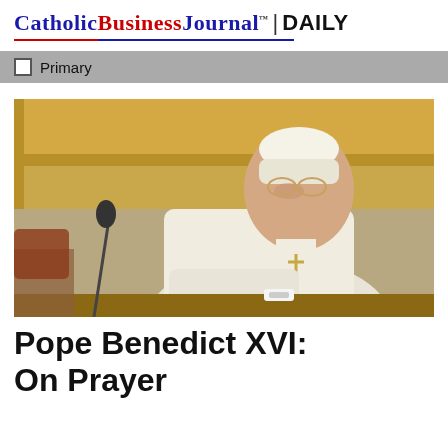CatholicBusinessJournal™ | DAILY
Primary
[Figure (photo): Pope Benedict XVI seated at a desk wearing white papal vestments and white zucchetto, looking down and writing, with a microphone visible to the left and ornate golden decor in the background.]
Pope Benedict XVI: On Prayer